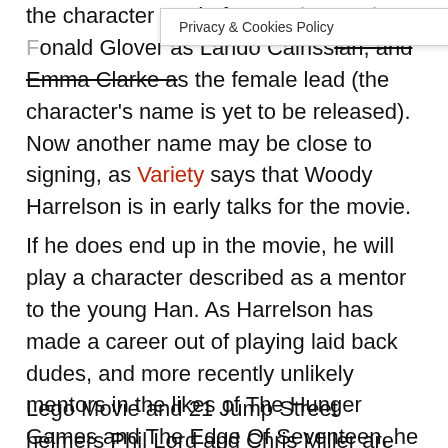[Figure (screenshot): Privacy & Cookies Policy tooltip/popup overlay on top of article text]
the character made famous by Harrison Ford, Donald Glover as Lando Calrissian, and Emma Clarke as the female lead (the character's name is yet to be released). Now another name may be close to signing, as Variety says that Woody Harrelson is in early talks for the movie.
If he does end up in the movie, he will play a character described as a mentor to the young Han. As Harrelson has made a career out of playing laid back dudes, and more recently unlikely mentors in the likes of The Hunger Games and The Edge Of Seventeen, he seems a good choice to play someone who helped make Han Solo the man he was across four wildly popular movies.
Lego Movie and 21 Jump Street helmers Phil Lord and Chris Miller are set to direct the movie. It'll be in cinemas May 2018.